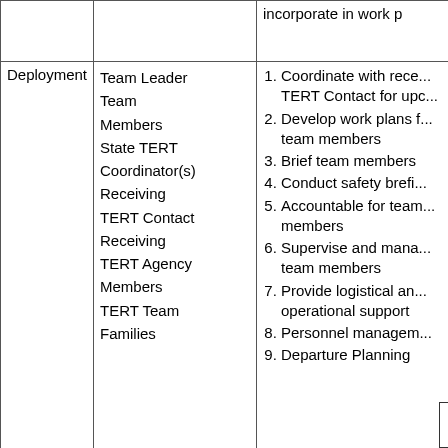| Phase | Who | Responsibilities |
| --- | --- | --- |
|  |  | incorporate in work p... |
| Deployment | Team Leader
Team Members
State TERT Coordinator(s)
Receiving TERT Contact
Receiving TERT Agency Members
TERT Team Families | 1. Coordinate with rece... TERT Contact for upc...
2. Develop work plans f... team members
3. Brief team members
4. Conduct safety brefi...
5. Accountable for team... members
6. Supervise and mana... team members
7. Provide logistical an... operational support
8. Personnel managem...
9. Departure Planning |